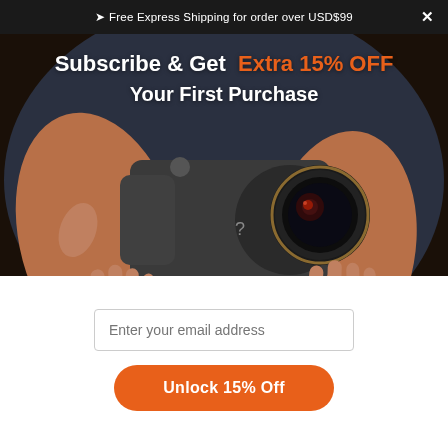➤ Free Express Shipping for order over USD$99
Subscribe & Get Extra 15% OFF Your First Purchase
[Figure (photo): Person holding a smartphone camera grip accessory with a wide-angle lens attachment, photographed against a dark background.]
Enter your email address
Unlock 15% Off